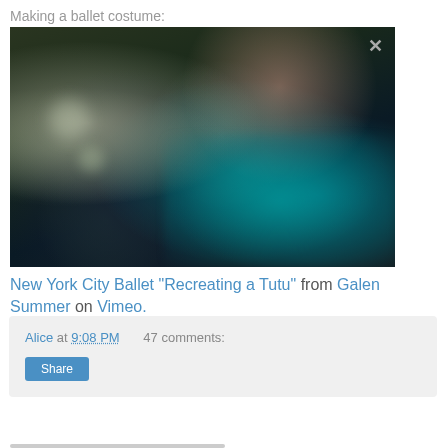Making a ballet costume:
[Figure (photo): Blurred close-up photo of a ballet tutu costume, predominantly dark with teal/turquoise fabric and bokeh light effects, with an X close button in the upper right corner]
New York City Ballet "Recreating a Tutu" from Galen Summer on Vimeo.
Alice at 9:08 PM    47 comments:
Share